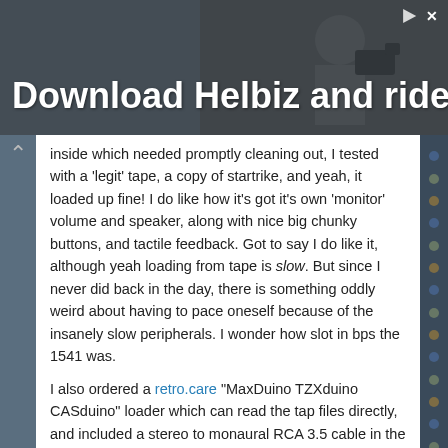[Figure (photo): Advertisement banner showing a person with a camera in an urban setting with text 'Download Helbiz and ride' overlaid in white bold text. Close and play icons visible in top right.]
inside which needed promptly cleaning out, I tested with a 'legit' tape, a copy of startrike, and yeah, it loaded up fine! I do like how it's got it's own 'monitor' volume and speaker, along with nice big chunky buttons, and tactile feedback. Got to say I do like it, although yeah loading from tape is slow. But since I never did back in the day, there is something oddly weird about having to pace oneself because of the insanely slow peripherals. I wonder how slot in bps the 1541 was.
I also ordered a retro.care "MaxDuino TZXduino CASduino" loader which can read the tap files directly, and included a stereo to monaural RCA 3.5 cable in the bundle. Pitty it didn't include a SD card, and I ended up buying some 4GB card for £5. Such is the price of wanting it immediately. It does let you set the baud rate from 1200/2400/3600 and a blistering overdrive of 3668? Short of an eye watering £90+ for a DivIDE/DivMMC board it